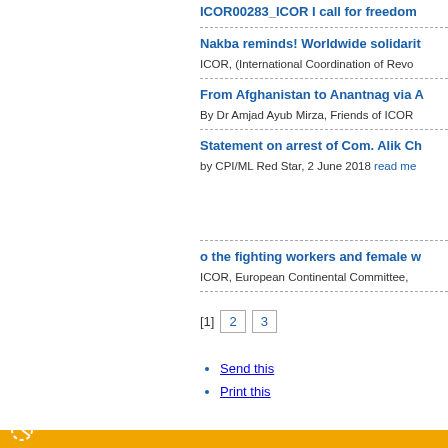ICOR00283_ICOR I call for freedom
Nakba reminds! Worldwide solidarit
ICOR, (International Coordination of Revo
From Afghanistan to Anantnag via A
By Dr Amjad Ayub Mirza, Friends of ICOR
Statement on arrest of Com. Alik Ch
by CPI/ML Red Star, 2 June 2018 read me
o the fighting workers and female w
ICOR, European Continental Committee,
[1] 2 3
Send this
Print this